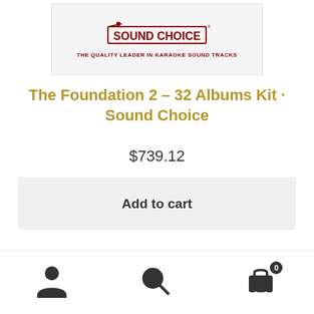[Figure (logo): Sound Choice karaoke logo with tagline THE QUALITY LEADER IN KARAOKE SOUND TRACKS]
The Foundation 2 – 32 Albums Kit · Sound Choice
$739.12
Add to cart
Prices are in Canadian dollars. The use of cookie is required to facilitate navigation. Good visit! Dismiss